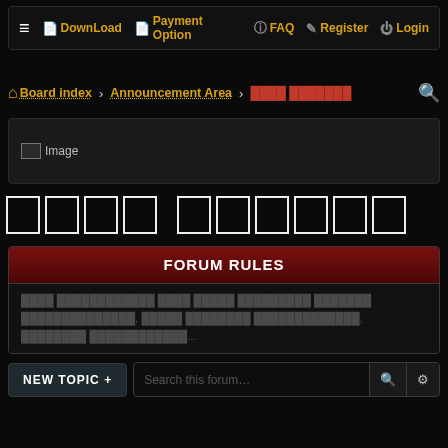≡ DownLoad | Payment Option | FAQ | Register | Login
Board index > Announcement Area > ████ ███████
[Figure (screenshot): Image placeholder banner on dark background]
████ ███████
FORUM RULES
████ ████████████ ████ █████ █████████ ███████ ██████████████, █████ ████████ █████████████, ████████ ████████████...
NEW TOPIC +   Search this forum…